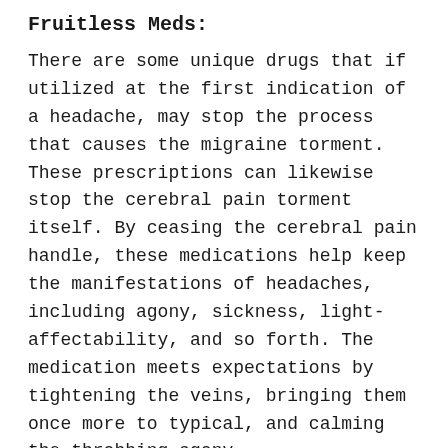Fruitless Meds:
There are some unique drugs that if utilized at the first indication of a headache, may stop the process that causes the migraine torment. These prescriptions can likewise stop the cerebral pain torment itself. By ceasing the cerebral pain handle, these medications help keep the manifestations of headaches, including agony, sickness, light-affectability, and so forth. The medication meets expectations by tightening the veins, bringing them once more to typical, and calming the throbbing agony.
Biofeedback:
Biofeedback helps individuals figure out how to perceive upsetting circumstances that trigger headaches. In the event that the headache starts